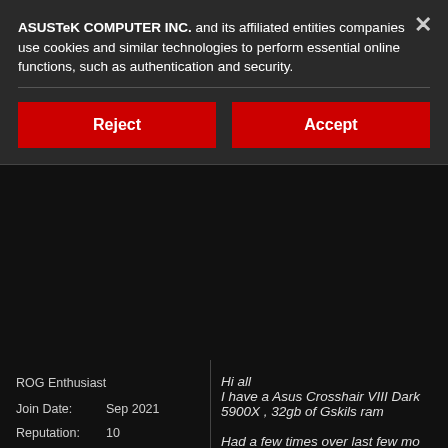ASUSTeK COMPUTER INC. and its affiliated entities companies use cookies and similar technologies to perform essential online functions, such as authentication and security.
Reject
Accept
ROG Enthusiast
Join Date: Sep 2021
Reputation: 10
Posts: 30
Hi all I have a Asus Crosshair VIII Dark Hero (cut off) 5900X , 32gb of Gskils ram Had a few times over last few months (cut off) where the system wont power on. You press power switch on case a(cut off) You press power button on mothe(cut off) lit up white ...all rgb is working ( o(cut off) If i turn off PSU and back then pow(cut off) boots fine. It can then be fine for say 4 weeks(cut off) blue again. Was ok with old motherboard....so(cut off) changed is MB and CPU. Tried reflashing bios back to earlie(cut off) Had new graphics card since(cut off)